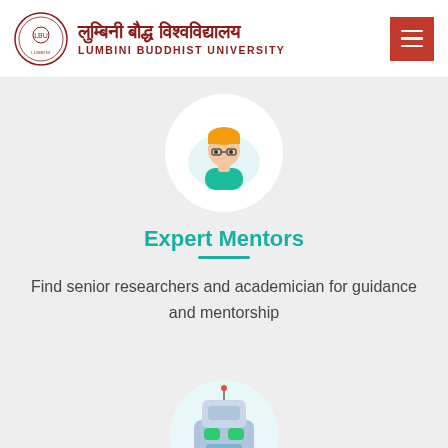[Figure (logo): Lumbini Buddhist University circular seal/emblem logo in color]
लुम्बिनी बौद्ध विश्वविद्यालय LUMBINI BUDDHIST UNIVERSITY
[Figure (illustration): Red hamburger menu button with three white horizontal lines]
[Figure (illustration): Circular icon with a cartoon illustration of a male mentor/academician wearing glasses and green clothing, on a light blue/white background]
Expert Mentors
Find senior researchers and academician for guidance and mentorship
[Figure (illustration): Partial circular icon at bottom showing a robot/AI assistant illustration, partially cropped]